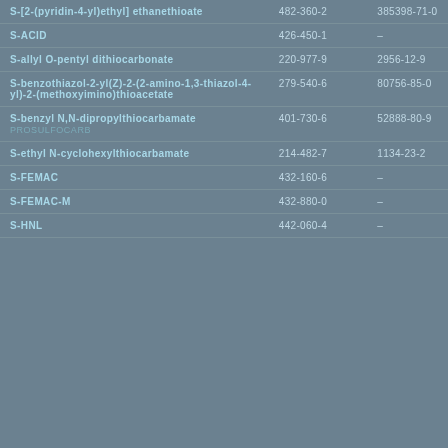| S-[2-(pyridin-4-yl)ethyl] ethanethioate | 482-360-2 | 385398-71-0 |
| S-ACID | 426-450-1 | - |
| S-allyl O-pentyl dithiocarbonate | 220-977-9 | 2956-12-9 |
| S-benzothiazol-2-yl(Z)-2-(2-amino-1,3-thiazol-4-yl)-2-(methoxyimino)thioacetate | 279-540-6 | 80756-85-0 |
| S-benzyl N,N-dipropylthiocarbamate
PROSULFOCARB | 401-730-6 | 52888-80-9 |
| S-ethyl N-cyclohexylthiocarbamate | 214-482-7 | 1134-23-2 |
| S-FEMAC | 432-160-6 | - |
| S-FEMAC-M | 432-880-0 | - |
| S-HNL | 442-060-4 | - |